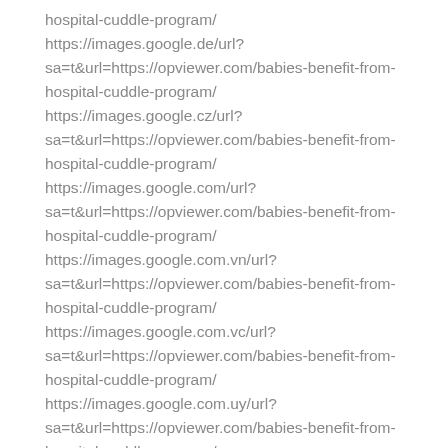hospital-cuddle-program/
https://images.google.de/url?sa=t&url=https://opviewer.com/babies-benefit-from-hospital-cuddle-program/
https://images.google.cz/url?sa=t&url=https://opviewer.com/babies-benefit-from-hospital-cuddle-program/
https://images.google.com/url?sa=t&url=https://opviewer.com/babies-benefit-from-hospital-cuddle-program/
https://images.google.com.vn/url?sa=t&url=https://opviewer.com/babies-benefit-from-hospital-cuddle-program/
https://images.google.com.vc/url?sa=t&url=https://opviewer.com/babies-benefit-from-hospital-cuddle-program/
https://images.google.com.uy/url?sa=t&url=https://opviewer.com/babies-benefit-from-hospital-cuddle-program/
https://images.google.com.ua/url?